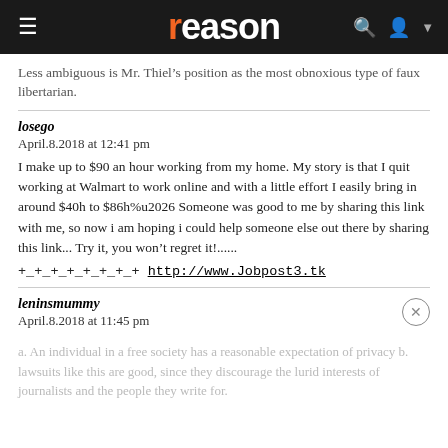reason
Less ambiguous is Mr. Thiel’s position as the most obnoxious type of faux libertarian.
losego
April.8.2018 at 12:41 pm
I make up to $90 an hour working from my home. My story is that I quit working at Walmart to work online and with a little effort I easily bring in around $40h to $86h%u2026 Someone was good to me by sharing this link with me, so now i am hoping i could help someone else out there by sharing this link... Try it, you won't regret it!......
+_+_+_+_+_+_+_+ http://www.Jobpost3.tk
leninsmummy
April.8.2018 at 11:45 pm
a. An individual in a free society has a reasonable expectation of privacy b. lawsuits like this are good, since they discourage the lurid interests of journalists and the people they write for.